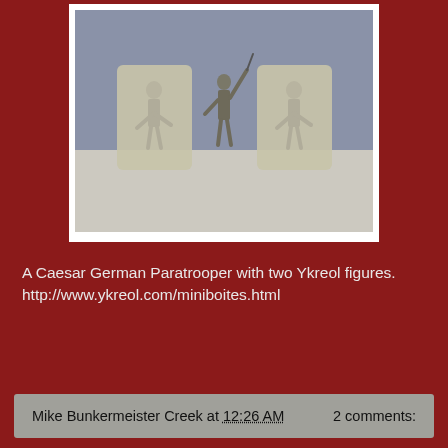[Figure (photo): Photograph of three miniature figurines on a surface: a Caesar German Paratrooper figure in the center flanked by two Ykreol figures with shield-shaped backing cards, against a blue-gray and white background.]
A Caesar German Paratrooper with two Ykreol figures. http://www.ykreol.com/miniboites.html
Mike Bunkermeister Creek at 12:26 AM    2 comments: